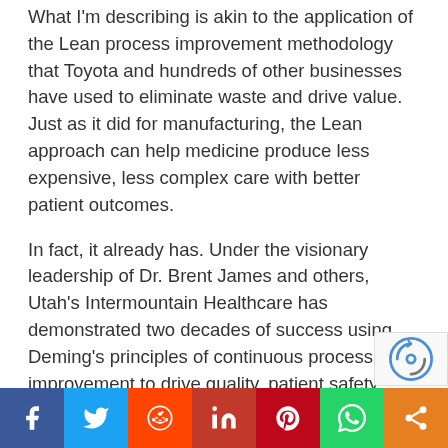What I'm describing is akin to the application of the Lean process improvement methodology that Toyota and hundreds of other businesses have used to eliminate waste and drive value. Just as it did for manufacturing, the Lean approach can help medicine produce less expensive, less complex care with better patient outcomes.
In fact, it already has. Under the visionary leadership of Dr. Brent James and others, Utah's Intermountain Healthcare has demonstrated two decades of success using Deming's principles of continuous process improvement to drive quality, patient safety, waste reduction and cost savings. Similar results are being achieved by other leading-edge healthcare organizations.